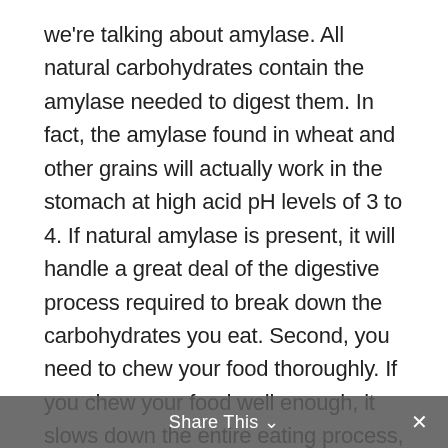we're talking about amylase. All natural carbohydrates contain the amylase needed to digest them. In fact, the amylase found in wheat and other grains will actually work in the stomach at high acid pH levels of 3 to 4. If natural amylase is present, it will handle a great deal of the digestive process required to break down the carbohydrates you eat. Second, you need to chew your food thoroughly. If you chew your food well enough, it slows down the entire eating process, which spreads out the glycemic response. It also allows the amylase in the saliva to effectively start breaking down the carbohydrates, which takes a huge burden off your pancreas. And it allows time for your
Share This ∨  ×